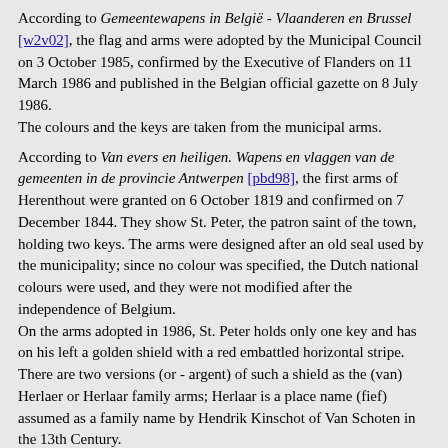According to Gemeentewapens in België - Vlaanderen en Brussel [w2v02], the flag and arms were adopted by the Municipal Council on 3 October 1985, confirmed by the Executive of Flanders on 11 March 1986 and published in the Belgian official gazette on 8 July 1986.
The colours and the keys are taken from the municipal arms.
According to Van evers en heiligen. Wapens en vlaggen van de gemeenten in de provincie Antwerpen [pbd98], the first arms of Herenthout were granted on 6 October 1819 and confirmed on 7 December 1844. They show St. Peter, the patron saint of the town, holding two keys. The arms were designed after an old seal used by the municipality; since no colour was specified, the Dutch national colours were used, and they were not modified after the independence of Belgium.
On the arms adopted in 1986, St. Peter holds only one key and has on his left a golden shield with a red embattled horizontal stripe. There are two versions (or - argent) of such a shield as the (van) Herlaer or Herlaar family arms; Herlaar is a place name (fief) assumed as a family name by Hendrik Kinschot of Van Schoten in the 13th Century.
Arnaud Leroy, Pascal Vagnat, Jan Mertens & Ivan Sache, 19 January 2006